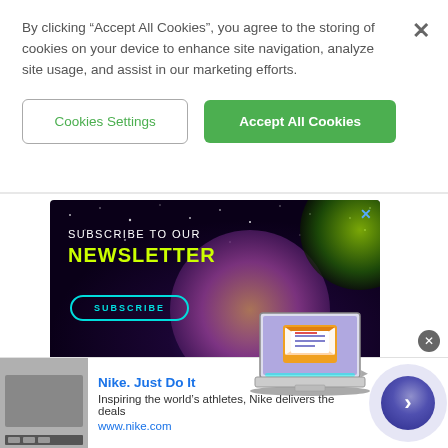By clicking “Accept All Cookies”, you agree to the storing of cookies on your device to enhance site navigation, analyze site usage, and assist in our marketing efforts.
Cookies Settings
Accept All Cookies
[Figure (screenshot): Newsletter subscription advertisement with dark space/galaxy background, green planet, laptop with email graphic. Text: SUBSCRIBE TO OUR NEWSLETTER with a SUBSCRIBE button.]
[Figure (screenshot): Nike ad banner: thumbnail image on left, title 'Nike. Just Do It', description 'Inspiring the world’s athletes, Nike delivers the deals', URL 'www.nike.com', arrow button on right.]